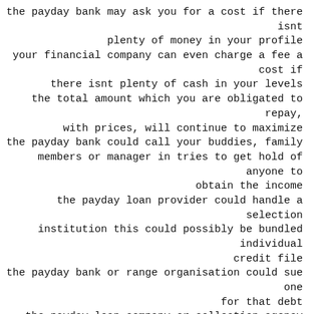the payday bank may ask you for a cost if there isnt plenty of money in your profile your financial company can even charge a fee a cost if there isnt plenty of cash in your levels the total amount which you are obligated to repay, with prices, will continue to maximize the payday bank could call your buddies, family members or manager in tries to get hold of anyone to obtain the income the payday loan provider could handle a selection institution this could possibly be bundled individual credit file the payday bank or range organisation could sue one for that debt the payday loan company or collection agency could take your personal property the payday loan provider could go to the process of